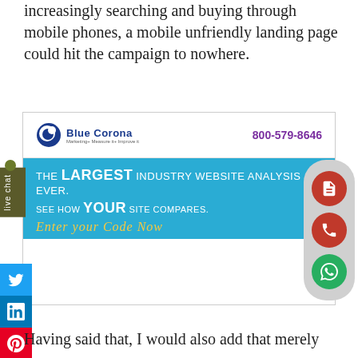increasingly searching and buying through mobile phones, a mobile unfriendly landing page could hit the campaign to nowhere.
[Figure (screenshot): Screenshot of Blue Corona website with header showing logo and phone number 800-579-8646, blue banner reading 'THE LARGEST INDUSTRY WEBSITE ANALYSIS EVER. SEE HOW YOUR SITE COMPARES.' with a live chat widget on the left, social media buttons (Twitter, LinkedIn, Pinterest), and contact action buttons on the right (document, phone, WhatsApp).]
Having said that, I would also add that merely